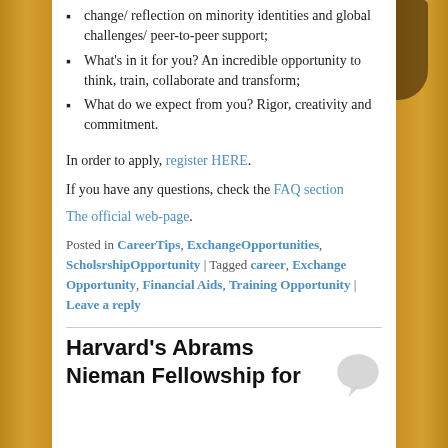change/ reflection on minority identities and global challenges/ peer-to-peer support;
What's in it for you? An incredible opportunity to think, train, collaborate and transform;
What do we expect from you? Rigor, creativity and commitment.
In order to apply, register HERE.
If you have any questions, check the FAQ section
The official web-page.
Posted in CareerTips, ExchangeOpportunities, ScholsrshipOpportunity | Tagged career, Exchange Opportunity, Financial Aids, Training Opportunity | Leave a reply
Harvard's Abrams Nieman Fellowship for